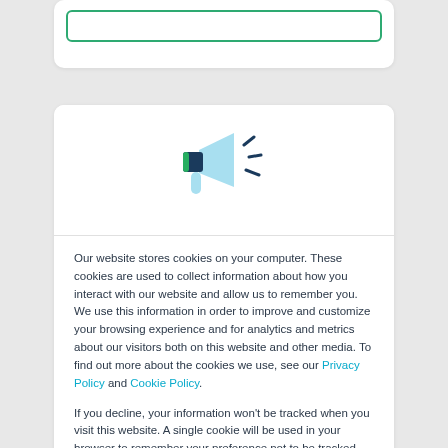[Figure (illustration): Megaphone/loudspeaker icon in light blue and dark navy blue with green accent and sound wave lines]
Our website stores cookies on your computer. These cookies are used to collect information about how you interact with our website and allow us to remember you. We use this information in order to improve and customize your browsing experience and for analytics and metrics about our visitors both on this website and other media. To find out more about the cookies we use, see our Privacy Policy and Cookie Policy.
If you decline, your information won't be tracked when you visit this website. A single cookie will be used in your browser to remember your preference not to be tracked.